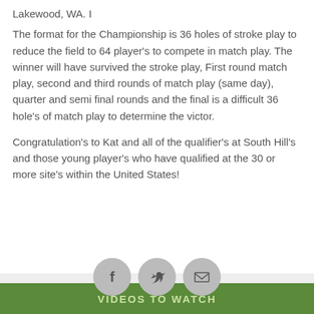Lakewood, WA. I
The format for the Championship is 36 holes of stroke play to reduce the field to 64 player’s to compete in match play. The winner will have survived the stroke play, First round match play, second and third rounds of match play (same day), quarter and semi final rounds and the final is a difficult 36 hole’s of match play to determine the victor.
Congratulation’s to Kat and all of the qualifier’s at South Hill’s and those young player’s who have qualified at the 30 or more site’s within the United States!
[Figure (infographic): Social sharing icons: Facebook, Twitter, and Email/envelope, displayed as three gray circles in a row with a horizontal line behind them.]
VIDEOS TO WATCH